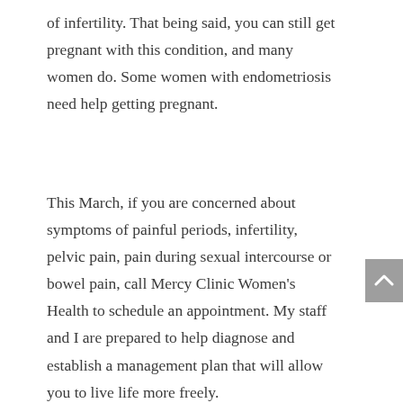of infertility. That being said, you can still get pregnant with this condition, and many women do. Some women with endometriosis need help getting pregnant.
This March, if you are concerned about symptoms of painful periods, infertility, pelvic pain, pain during sexual intercourse or bowel pain, call Mercy Clinic Women's Health to schedule an appointment. My staff and I are prepared to help diagnose and establish a management plan that will allow you to live life more freely.